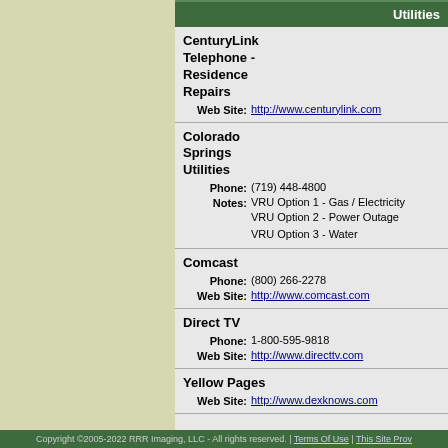Utilities
CenturyLink Telephone - Residence Repairs
Web Site: http://www.centurylink.com
Colorado Springs Utilities
Phone: (719) 448-4800
Notes: VRU Option 1 - Gas / Electricity
VRU Option 2 - Power Outage
VRU Option 3 - Water
Comcast
Phone: (800) 266-2278
Web Site: http://www.comcast.com
Direct TV
Phone: 1-800-595-9818
Web Site: http://www.directtv.com
Yellow Pages
Web Site: http://www.dexknows.com
Copyright ©2005-2022 RRR Imaging, LLC - All rights reserved. | Terms Of Use | This Site Prov...